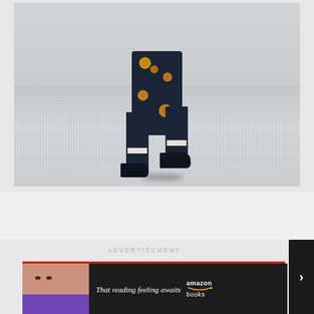[Figure (photo): Fashion runway photo showing model's legs from mid-thigh down, wearing dark floral print pants with orange/yellow flower pattern and dark slip-on shoes, walking on a gray concrete surface]
ADVERTISEMENT
[Figure (photo): Amazon Books advertisement banner showing a person peeking over a purple book with text 'That reading feeling awaits' and 'amazon books' logo]